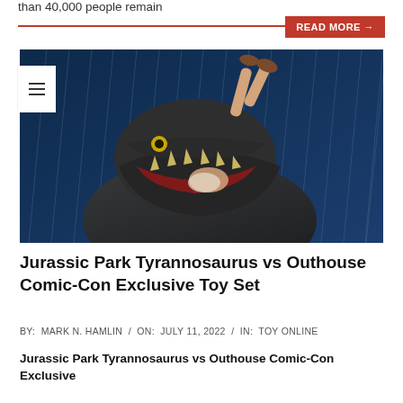than 40,000 people remain
READ MORE →
[Figure (photo): A Jurassic Park Tyrannosaurus toy figure biting a human figure in the rain against a dark blue background]
Jurassic Park Tyrannosaurus vs Outhouse Comic-Con Exclusive Toy Set
BY: MARK N. HAMLIN / ON: JULY 11, 2022 / IN: TOY ONLINE
Jurassic Park Tyrannosaurus vs Outhouse Comic-Con Exclusive